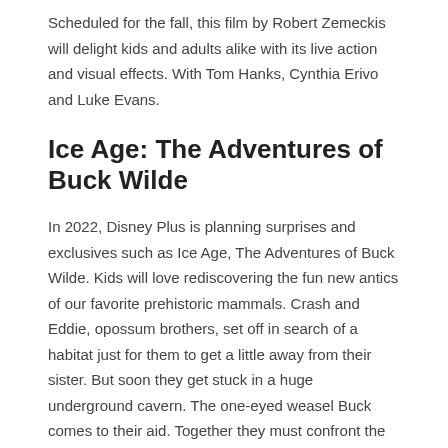Scheduled for the fall, this film by Robert Zemeckis will delight kids and adults alike with its live action and visual effects. With Tom Hanks, Cynthia Erivo and Luke Evans.
Ice Age: The Adventures of Buck Wilde
In 2022, Disney Plus is planning surprises and exclusives such as Ice Age, The Adventures of Buck Wilde. Kids will love rediscovering the fun new antics of our favorite prehistoric mammals. Crash and Eddie, opossum brothers, set off in search of a habitat just for them to get a little away from their sister. But soon they get stuck in a huge underground cavern. The one-eyed weasel Buck comes to their aid. Together they must confront the rebellious dinosaurs that inhabit the Underworld.
Zootopia
In 2022, a series of new short films from the Walt Disney Animation Studio...